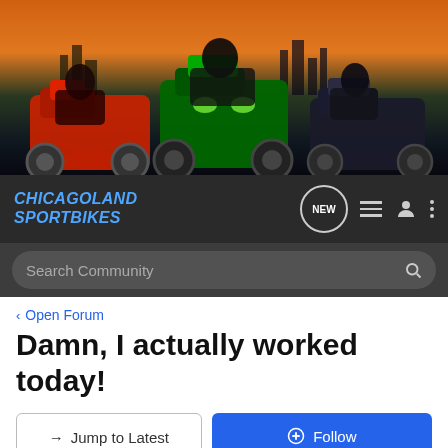[Figure (photo): Banner image showing three sport motorcycles (red on left, green in center, dark/gray on right) against a dramatic cityscape/racetrack background with orange and blue hues.]
CHICAGOLAND SPORTBIKES
Search Community
< Open Forum
Damn, I actually worked today!
→ Jump to Latest
+ Follow
1 - 5 of 5 Posts
YZFRabbit · I can make my bike lean!
Joined Apr 8, 2002 · 356 Posts